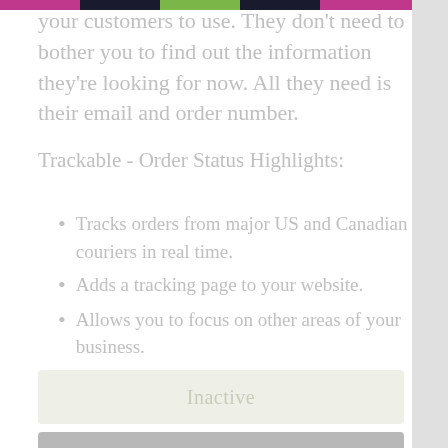your customers to use. They don't need to bother you to find out the information they're looking for now. All they need is their email and order number.
Trackable - Order Status Highlights:
Tracks orders from major US and Canadian couriers in real time.
Adds a tracking page to your website.
Allows you to focus on other areas of your business.
Customers don't need to get more information from you.
Inactive
POD